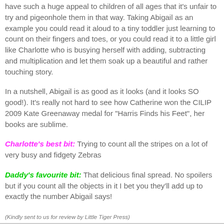have such a huge appeal to children of all ages that it's unfair to try and pigeonhole them in that way. Taking Abigail as an example you could read it aloud to a tiny toddler just learning to count on their fingers and toes, or you could read it to a little girl like Charlotte who is busying herself with adding, subtracting and multiplication and let them soak up a beautiful and rather touching story.
In a nutshell, Abigail is as good as it looks (and it looks SO good!). It's really not hard to see how Catherine won the CILIP 2009 Kate Greenaway medal for "Harris Finds his Feet", her books are sublime.
Charlotte's best bit: Trying to count all the stripes on a lot of very busy and fidgety Zebras
Daddy's favourite bit: That delicious final spread. No spoilers but if you count all the objects in it I bet you they'll add up to exactly the number Abigail says!
(Kindly sent to us for review by Little Tiger Press)